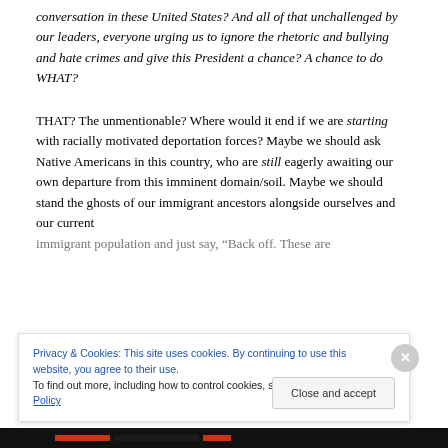conversation in these United States? And all of that unchallenged by our leaders, everyone urging us to ignore the rhetoric and bullying and hate crimes and give this President a chance? A chance to do WHAT?
THAT? The unmentionable? Where would it end if we are starting with racially motivated deportation forces? Maybe we should ask Native Americans in this country, who are still eagerly awaiting our own departure from this imminent domain/soil. Maybe we should stand the ghosts of our immigrant ancestors alongside ourselves and our current immigrant population and just say, “Back off. These are
Privacy & Cookies: This site uses cookies. By continuing to use this website, you agree to their use. To find out more, including how to control cookies, see here: Cookie Policy